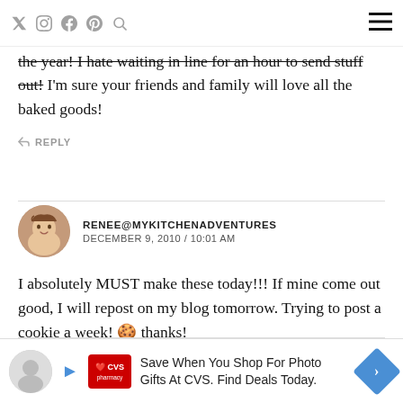Navigation bar with social icons and menu
the year! I hate waiting in line for an hour to send stuff out! I'm sure your friends and family will love all the baked goods!
REPLY
RENEE@MYKITCHENADVENTURES
DECEMBER 9, 2010 / 10:01 AM
I absolutely MUST make these today!!! If mine come out good, I will repost on my blog tomorrow. Trying to post a cookie a week! 🍪 thanks!
REPLY
[Figure (infographic): CVS pharmacy advertisement banner: Save When You Shop For Photo Gifts At CVS. Find Deals Today.]